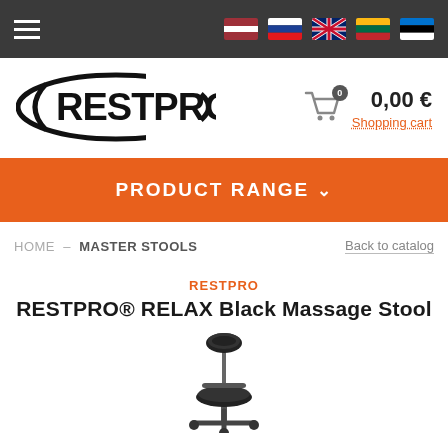Navigation bar with hamburger menu and language flags (Latvian, Russian, English, Lithuanian, Estonian)
[Figure (logo): RESTPRO logo in black oval shape]
0,00 € Shopping cart
PRODUCT RANGE
HOME — MASTER STOOLS   Back to catalog
RESTPRO
RESTPRO® RELAX Black Massage Stool
[Figure (photo): Black massage stool product photo showing adjustable headrest and seat on wheeled base]